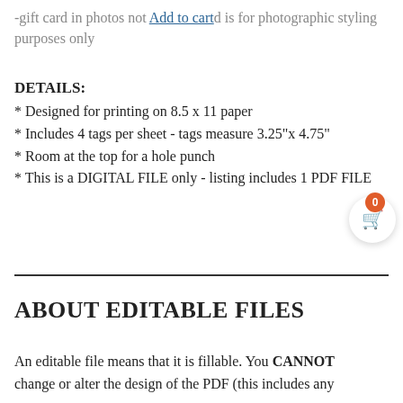-gift card in photos not included and is for photographic styling purposes only
DETAILS:
* Designed for printing on 8.5 x 11 paper
* Includes 4 tags per sheet - tags measure 3.25"x 4.75"
* Room at the top for a hole punch
* This is a DIGITAL FILE only - listing includes 1 PDF FILE
ABOUT EDITABLE FILES
An editable file means that it is fillable. You CANNOT change or alter the design of the PDF (this includes any